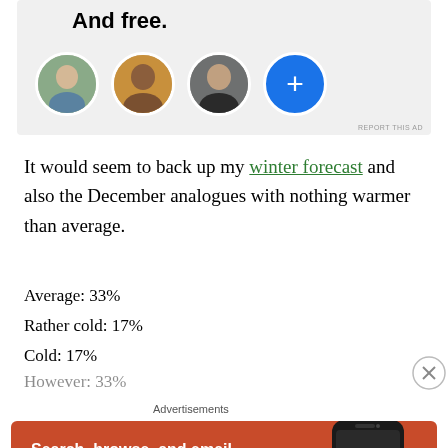[Figure (screenshot): Top advertisement banner with text 'And free.' and a row of circular profile avatars plus a blue plus button]
It would seem to back up my winter forecast and also the December analogues with nothing warmer than average.
Average: 33%
Rather cold: 17%
Cold: 17%
Advertisements
[Figure (screenshot): DuckDuckGo advertisement banner with orange background, text 'Search, browse, and email with more privacy. All in One Free App' and a phone mockup with DuckDuckGo logo]